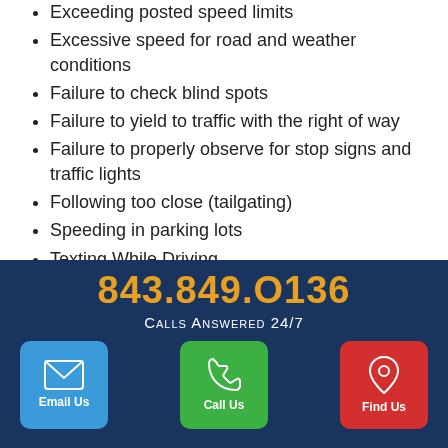Exceeding posted speed limits
Excessive speed for road and weather conditions
Failure to check blind spots
Failure to yield to traffic with the right of way
Failure to properly observe for stop signs and traffic lights
Following too close (tailgating)
Speeding in parking lots
Texting While Driving
Protecting Your Rights Following a Car Accident
Outcomes for claims related to car accidents vary greatly. One of the factors related to the success of a lawsuit is the skill level, experience and competence of the lawyer you choose to represent you. Richard Hricik has been representing individuals injured in accidents for years. When Richard agrees to represent
[Figure (infographic): Dark blue banner overlay with phone number 843.849.0136, 'Calls Answered 24/7' text, and three icon buttons: Email Us (blue), Call Us (green), Find Us (red)]